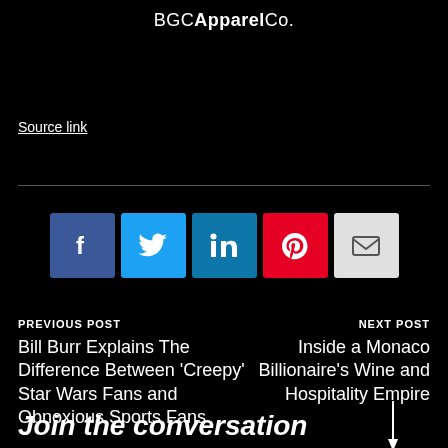BGC Apparel Co.
Source link
[Figure (infographic): Social share buttons: Facebook, Twitter, LinkedIn, Pinterest, Email]
PREVIOUS POST
Bill Burr Explains The Difference Between 'Creepy' Star Wars Fans and Obnoxious Sports Fans
NEXT POST
Inside a Monaco Billionaire's Wine and Hospitality Empire
Join the conversation